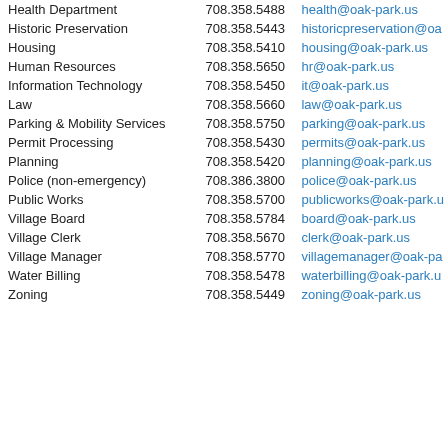| Department | Phone | Email |
| --- | --- | --- |
| Health Department | 708.358.5488 | health@oak-park.us |
| Historic Preservation | 708.358.5443 | historicpreservation@oa... |
| Housing | 708.358.5410 | housing@oak-park.us |
| Human Resources | 708.358.5650 | hr@oak-park.us |
| Information Technology | 708.358.5450 | it@oak-park.us |
| Law | 708.358.5660 | law@oak-park.us |
| Parking & Mobility Services | 708.358.5750 | parking@oak-park.us |
| Permit Processing | 708.358.5430 | permits@oak-park.us |
| Planning | 708.358.5420 | planning@oak-park.us |
| Police (non-emergency) | 708.386.3800 | police@oak-park.us |
| Public Works | 708.358.5700 | publicworks@oak-park.us |
| Village Board | 708.358.5784 | board@oak-park.us |
| Village Clerk | 708.358.5670 | clerk@oak-park.us |
| Village Manager | 708.358.5770 | villagemanager@oak-park.us |
| Water Billing | 708.358.5478 | waterbilling@oak-park.us |
| Zoning | 708.358.5449 | zoning@oak-park.us |